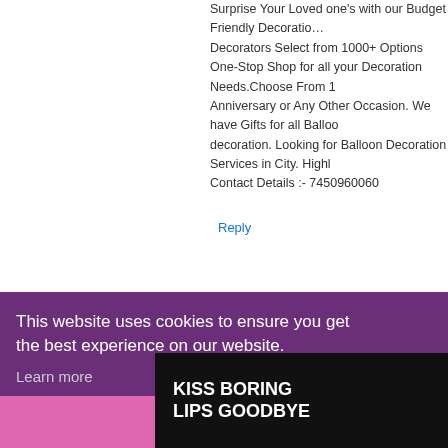Surprise Your Loved one's with our Budget Friendly Decoration. Decorators Select from 1000+ Options
One-Stop Shop for all your Decoration Needs.Choose From 1 Anniversary or Any Other Occasion. We have Gifts for all Balloon decoration. Looking for Balloon Decoration Services in City. Highly Contact Details :- 7450960060
Reply
Kaal Sarp Dosh Puja in Ujjain  July 13, 2022 at 4:10 AM
Kaal Sarp Dosh Puja in Ujjain is when all planets come in the m destiny or planets are in a vicious circle. Conjunction of planets is a horoscope. Kaal Sarp Dosh Puja in Ujjain is the right time for a circumferenc
This website uses cookies to ensure you get the best experience on our website.
Learn more
Got it!
CLOSE
2:45 PM
highest posi li. That is wh Ujjain, and a ut according
KISS BORING LIPS GOODBYE
SHOP NOW
★ macy's